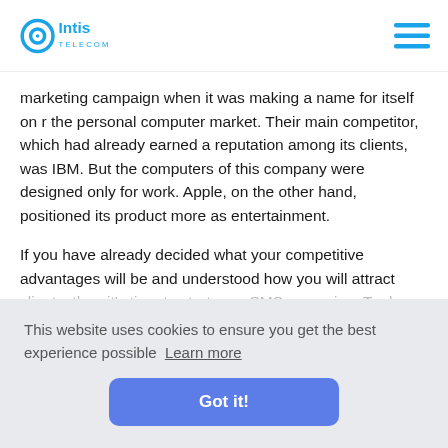Intis Telecom
marketing campaign when it was making a name for itself on r the personal computer market. Their main competitor, which had already earned a reputation among its clients, was IBM. But the computers of this company were designed only for work. Apple, on the other hand, positioned its product more as entertainment.
If you have already decided what your competitive advantages will be and understood how you will attract clients, then it's time to start your SMS campaign. To do
This website uses cookies to ensure you get the best experience possible  Learn more
Got it!